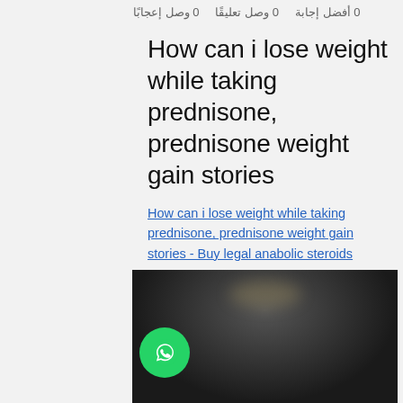0 وصل إعجابًا   0 وصل تعليقًا   0 أفضل إجابة
How can i lose weight while taking prednisone, prednisone weight gain stories
How can i lose weight while taking prednisone, prednisone weight gain stories - Buy legal anabolic steroids
[Figure (photo): Dark blurred photo, appears to show a person or product, partially obscured. WhatsApp floating button overlaid at bottom left.]